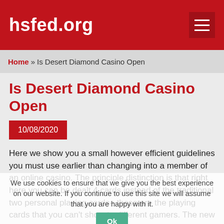hsfed.org
Home » Is Desert Diamond Casino Open
Is Desert Diamond Casino Open
10/08/2020
Here we show you a small however efficient guidelines you must use earlier than changing into a member of an online casino. The principle distinction is that right here you can be dealt 4 cards instead of the traditional two personal playing cards– these are the playing cards that you can't show to different gamers. The new Blackjack game has a streamlined user interface and the buttons
We use cookies to ensure that we give you the best experience on our website. If you continue to use this site we will assume that you are happy with it. Ok